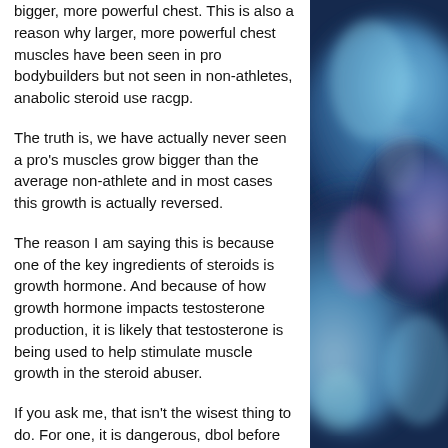bigger, more powerful chest. This is also a reason why larger, more powerful chest muscles have been seen in pro bodybuilders but not seen in non-athletes, anabolic steroid use racgp.
The truth is, we have actually never seen a pro's muscles grow bigger than the average non-athlete and in most cases this growth is actually reversed.
The reason I am saying this is because one of the key ingredients of steroids is growth hormone. And because of how growth hormone impacts testosterone production, it is likely that testosterone is being used to help stimulate muscle growth in the steroid abuser.
If you ask me, that isn't the wisest thing to do. For one, it is dangerous, dbol before and after. And second, it is extremely common for
[Figure (photo): Abstract blue and teal swirling liquid or smoke texture, decorative background image on the right side of the page]